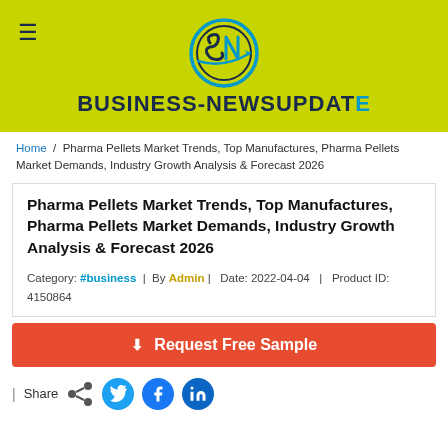BUSINESS-NEWSUPDATE
Home / Pharma Pellets Market Trends, Top Manufactures, Pharma Pellets Market Demands, Industry Growth Analysis & Forecast 2026
Pharma Pellets Market Trends, Top Manufactures, Pharma Pellets Market Demands, Industry Growth Analysis & Forecast 2026
Category: #business | By Admin | Date: 2022-04-04 | Product ID: 4150864
⬇ Request Free Sample
| Share